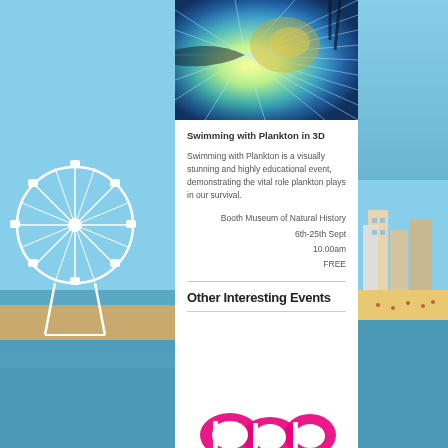[Figure (photo): Colorful abstract plankton/light rays image in 3D, top of content panel]
Swimming with Plankton in 3D
Swimming with Plankton is a visually stunning and highly educational event, demonstrating the vital role plankton plays in our survival.
Booth Museum of Natural History
6th-25th Sept
10.00am
FREE
Other Interesting Events
[Figure (logo): Pink logo/text at bottom of page, partially visible]